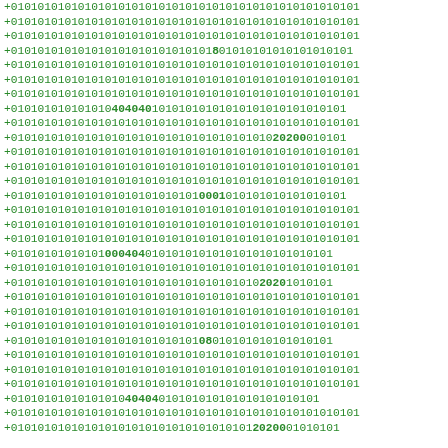Binary/data stream text consisting of repeated +010101... patterns with occasional variant digits (8, 4, 2, 0) embedded in the stream, displayed in green monospace font.